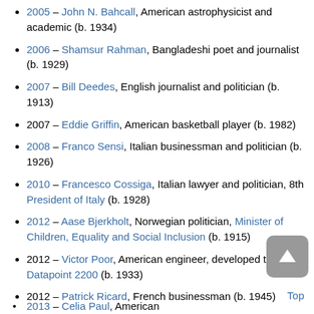2005 – John N. Bahcall, American astrophysicist and academic (b. 1934)
2006 – Shamsur Rahman, Bangladeshi poet and journalist (b. 1929)
2007 – Bill Deedes, English journalist and politician (b. 1913)
2007 – Eddie Griffin, American basketball player (b. 1982)
2008 – Franco Sensi, Italian businessman and politician (b. 1926)
2010 – Francesco Cossiga, Italian lawyer and politician, 8th President of Italy (b. 1928)
2012 – Aase Bjerkholt, Norwegian politician, Minister of Children, Equality and Social Inclusion (b. 1915)
2012 – Victor Poor, American engineer, developed the Datapoint 2200 (b. 1933)
2012 – Patrick Ricard, French businessman (b. 1945)
2012 – John Lynch-Staunton, Canadian lawyer and politician (b. 1930)
2013 – [partial, cut off]